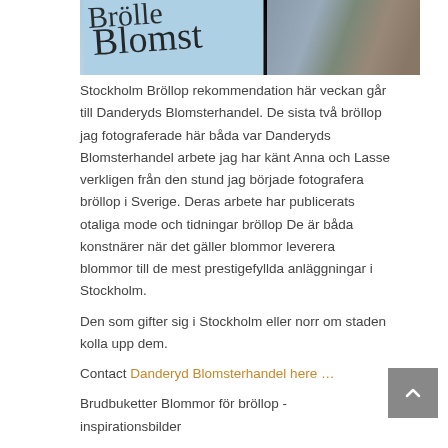[Figure (photo): Photo of Danderyds Blomsterhandel flower shop sign and interior, showing cursive handwritten logo text on left and a corridor/hallway on the right]
Stockholm Bröllop rekommendation här veckan går till Danderyds Blomsterhandel. De sista två bröllop jag fotograferade här båda var Danderyds Blomsterhandel arbete jag har känt Anna och Lasse verkligen från den stund jag började fotografera bröllop i Sverige. Deras arbete har publicerats otaliga mode och tidningar bröllop De är båda konstnärer när det gäller blommor leverera blommor till de mest prestigefyllda anläggningar i Stockholm.
Den som gifter sig i Stockholm eller norr om staden kolla upp dem.
Contact Danderyd Blomsterhandel here …
Brudbuketter Blommor för bröllop - inspirationsbilder